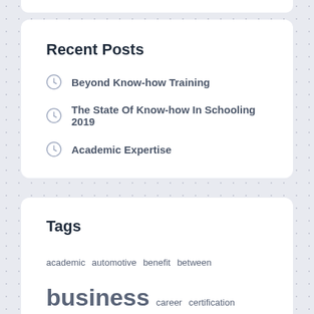Recent Posts
Beyond Know-how Training
The State Of Know-how In Schooling 2019
Academic Expertise
Tags
academic automotive benefit between business career certification classroom college curriculum department division education educational engineering examples expertise faculty fashion future health improved information institute